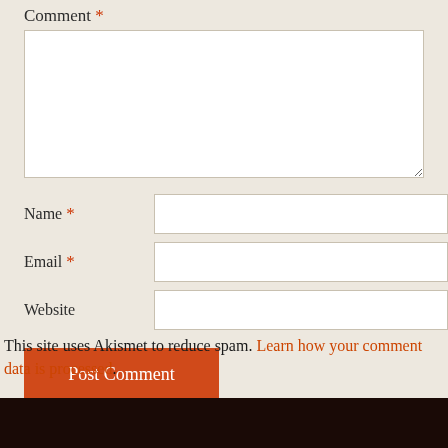Comment *
Name *
Email *
Website
Post Comment
This site uses Akismet to reduce spam. Learn how your comment data is processed.